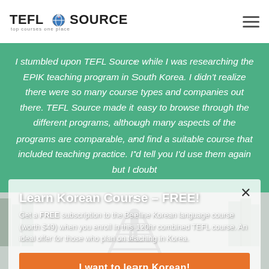TEFL SOURCE – top courses one place
I stumbled upon TEFL Source while I was researching the EPIK teaching program in South Korea. I didn't realize there were so many course types and companies out there. TEFL Source made it easy to browse through the different programs, although many aspects of the programs are comparable, and find a suitable course that included teaching practice. I'd tell you I'd use them again but I doubt
Learn Korean Course – FREE!
Get a FREE subscription to the Beeline Korean language course (worth $49) when you enroll in this 120hr combined TEFL course. An ideal offer for those who plan on teaching in Korea.
I want to learn Korean!
CLOSE